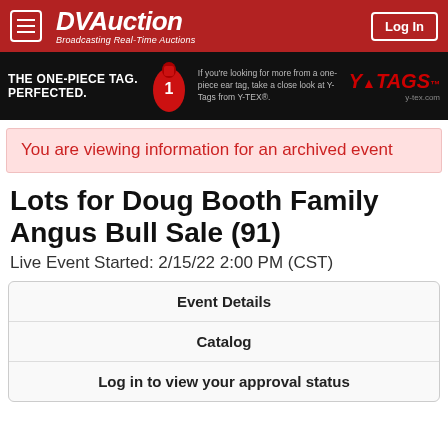DVAuction - Broadcasting Real-Time Auctions
[Figure (illustration): DVAuction website header with red background, hamburger menu button, DVAuction logo with tagline 'Broadcasting Real-Time Auctions', and Log In button]
[Figure (illustration): Y-Tags advertisement banner: 'THE ONE-PIECE TAG. PERFECTED.' with red ear tag image and text 'If you're looking for more from a one-piece ear tag, take a close look at Y-Tags from Y-TEX®.' with Y-Tags logo and y-tex.com]
You are viewing information for an archived event
Lots for Doug Booth Family Angus Bull Sale (91)
Live Event Started: 2/15/22 2:00 PM (CST)
Event Details
Catalog
Log in to view your approval status